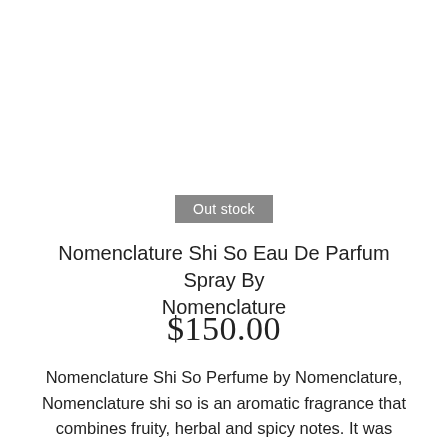Out stock
Nomenclature Shi So Eau De Parfum Spray By Nomenclature
$150.00
Nomenclature Shi So Perfume by Nomenclature, Nomenclature shi so is an aromatic fragrance that combines fruity, herbal and spicy notes. It was designed by perfumer bertrand duchaufour and is suitable for both women and men. Black currant and